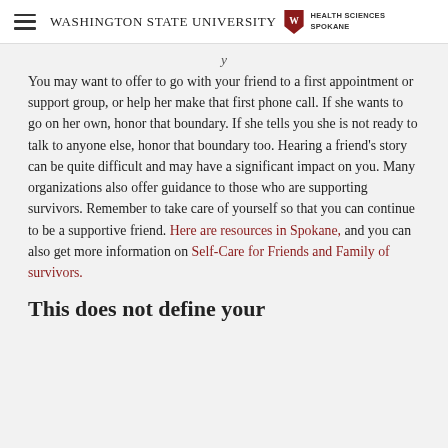Washington State University Health Sciences Spokane
You may want to offer to go with your friend to a first appointment or support group, or help her make that first phone call. If she wants to go on her own, honor that boundary. If she tells you she is not ready to talk to anyone else, honor that boundary too. Hearing a friend's story can be quite difficult and may have a significant impact on you. Many organizations also offer guidance to those who are supporting survivors. Remember to take care of yourself so that you can continue to be a supportive friend. Here are resources in Spokane, and you can also get more information on Self-Care for Friends and Family of survivors.
This does not define your